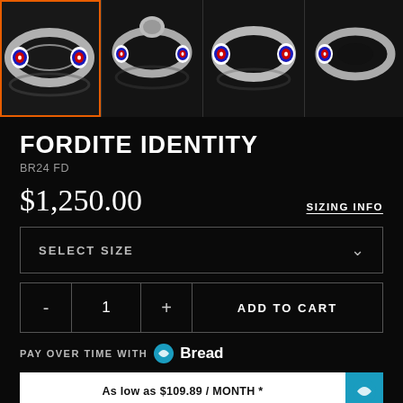[Figure (photo): Four thumbnail images of a silver bracelet with fordite (layered automotive paint) inlays showing concentric red/blue/white circles. First thumbnail is selected with orange border.]
FORDITE IDENTITY
BR24 FD
$1,250.00
SIZING INFO
SELECT SIZE
-  1  +  ADD TO CART
PAY OVER TIME WITH Bread
As low as $109.89 / MONTH *